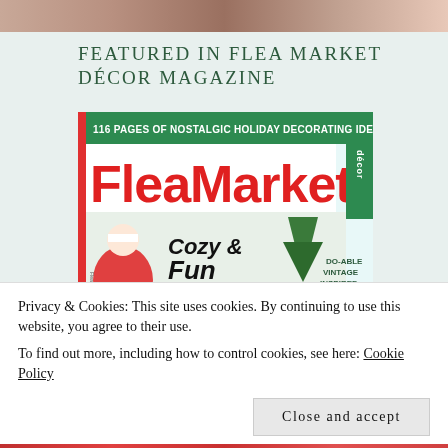[Figure (photo): Top cropped image of people or magazine content, partially visible]
FEATURED IN FLEA MARKET DÉCOR MAGAZINE
[Figure (photo): Flea Market Décor magazine cover showing holiday issue with Santa, Christmas tree, text '116 PAGES OF NOSTALGIC HOLIDAY DECORATING IDEAS', 'FleaMarket décor', 'Cozy & Fun', 'TOUR 5 FESTIVE HOMES BRIMMING WITH', 'DO-ABLE VINTAGE INSPIRED VIGNETTES']
Privacy & Cookies: This site uses cookies. By continuing to use this website, you agree to their use.
To find out more, including how to control cookies, see here: Cookie Policy
Close and accept
[Figure (photo): Bottom cropped image, partially visible, red tones]